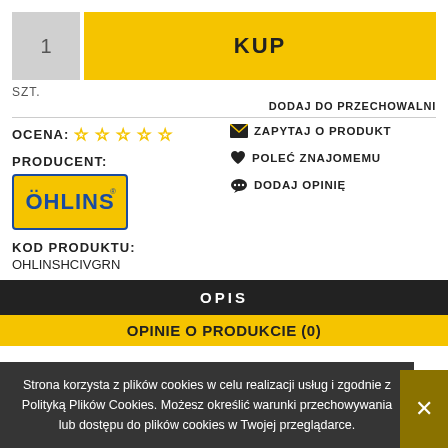1
KUP
SZT.
DODAJ DO PRZECHOWALNI
OCENA: ☆ ☆ ☆ ☆ ☆
✉ ZAPYTAJ O PRODUKT
PRODUCENT:
[Figure (logo): Öhlins logo — yellow background with blue border, text ÖHLINS in blue]
♥ POLEĆ ZNAJOMEMU
💬 DODAJ OPINIĘ
KOD PRODUKTU:
OHLINSHCIVGRN
OPIS
OPINIE O PRODUKCIE (0)
Strona korzysta z plików cookies w celu realizacji usług i zgodnie z Polityką Plików Cookies. Możesz określić warunki przechowywania lub dostępu do plików cookies w Twojej przeglądarce.